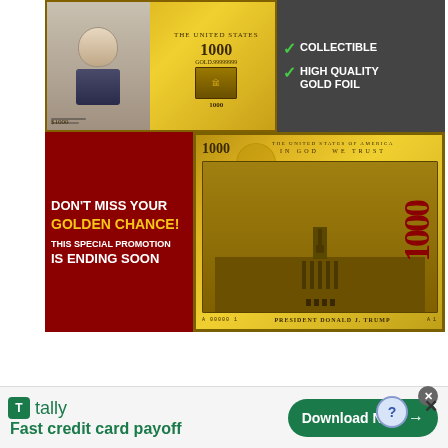[Figure (infographic): Advertisement banner for a gold foil collectible $1000 bill featuring President Donald J. Trump. Top portion shows the gold bill with a portrait, '1000' denomination, 'GOLD.99999999' text, and checkmark badges for 'COLLECTIBLE' and 'HIGH QUALITY GOLD FOIL' on dark background. Bottom portion has red background with white/yellow text: 'DON'T MISS YOUR GOLDEN CHANCE! THIS SPECIAL PROMOTION IS ENDING SOON' alongside a large gold foil novelty bill showing Independence Hall, 'THE UNITED STATES OF AMERICA', '1000', 'IN GOD WE TRUST', and 'PRESIDENT DONALD J. TRUMP'.]
[Figure (infographic): Tally app advertisement banner. Green tally icon logo, 'tally' brand name, 'Fast credit card payoff' tagline on left. Green rounded 'Download Now →' button on right. Close/help buttons in upper right corner.]